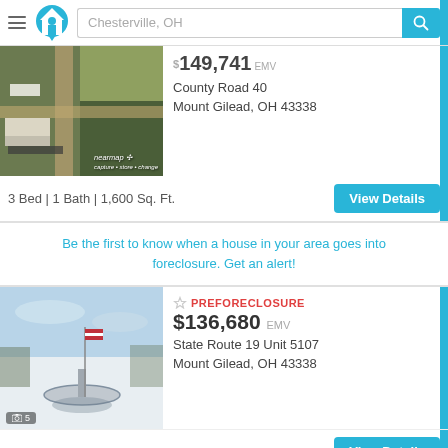Chesterville, OH
[Figure (photo): Aerial nearmap photo of rural property with farm buildings and fields at County Road 40, Mount Gilead, OH]
$149,741 EMV
County Road 40
Mount Gilead, OH 43338
3 Bed | 1 Bath | 1,600 Sq. Ft.
View Details
Be the first to know when a house in your area goes into foreclosure. Get an alert!
PREFORECLOSURE
[Figure (photo): Winter outdoor photo of fountain/monument in snowy landscape at State Route 19 Unit 5107, Mount Gilead, OH]
$136,680 EMV
State Route 19 Unit 5107
Mount Gilead, OH 43338
View Details